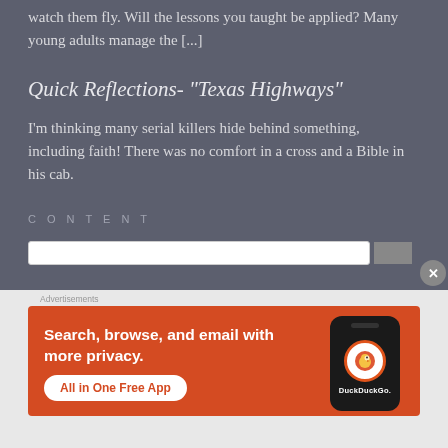watch them fly. Will the lessons you taught be applied? Many young adults manage the [...]
Quick Reflections- “Texas Highways”
I’m thinking many serial killers hide behind something, including faith! There was no comfort in a cross and a Bible in his cab.
CONTENT
[Figure (screenshot): DuckDuckGo advertisement banner: orange background with text 'Search, browse, and email with more privacy. All in One Free App' with a phone mockup showing the DuckDuckGo logo.]